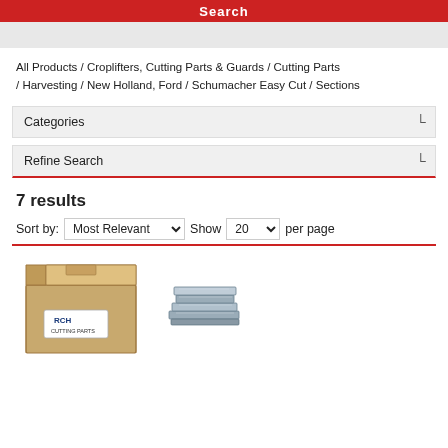Search
All Products / Croplifters, Cutting Parts & Guards / Cutting Parts / Harvesting / New Holland, Ford / Schumacher Easy Cut / Sections
Categories
Refine Search
7 results
Sort by: Most Relevant  Show 20 per page
[Figure (photo): Product image showing a cardboard box with RCH branding label and some metal cutting parts beside it]